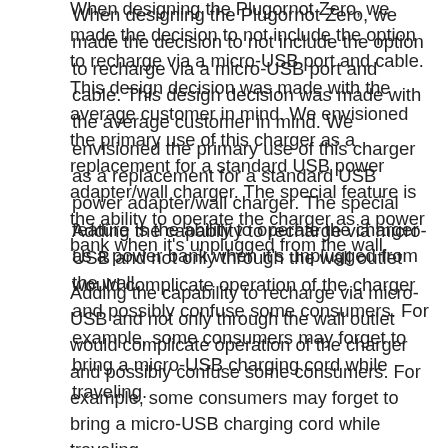When designing the Plugornot Zero, we made the decision to not include the option to recharge via a micro-USB port and cable. This design decision was made with the average customer in mind. We envisioned the primary use of this charger as a replacement for a standard USB power adapter/wall charger. The special feature is the ability to operate the charger as a power bank when it's unplugged from the wall.
Adding the capability to recharge via micro-USB and not only through the wall outlet would complicate operation of the charger and possibly confuse some consumers. For example, some consumers may forget to bring a micro-USB charging cord while traveling.
By leaving out this additional recharging option, we are able to reduce the cost of the charger while giving the average consumer the functions they're looking for.
In the rare scenario where the Plugornot fails to recharge from the outlet, we have an 18-month warranty for refund or replacement. It is not advisable to continue using a charger